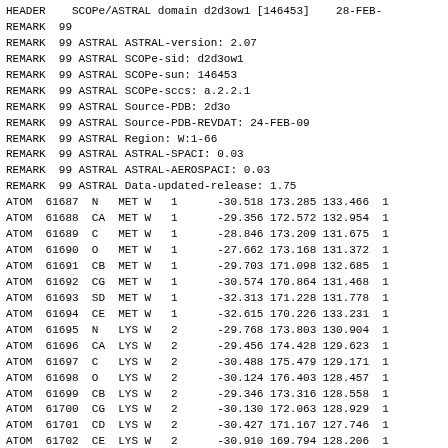HEADER    SCOPe/ASTRAL domain d2d3ow1 [146453]    28-FEB-
REMARK  99
REMARK  99 ASTRAL ASTRAL-version: 2.07
REMARK  99 ASTRAL SCOPe-sid: d2d3ow1
REMARK  99 ASTRAL SCOPe-sun: 146453
REMARK  99 ASTRAL SCOPe-sccs: a.2.2.1
REMARK  99 ASTRAL Source-PDB: 2d3o
REMARK  99 ASTRAL Source-PDB-REVDAT: 24-FEB-09
REMARK  99 ASTRAL Region: W:1-66
REMARK  99 ASTRAL ASTRAL-SPACI: 0.03
REMARK  99 ASTRAL ASTRAL-AEROSPACI: 0.03
REMARK  99 ASTRAL Data-updated-release: 1.75
ATOM  61687  N   MET W   1      -30.518 173.285 133.466  1
ATOM  61688  CA  MET W   1      -29.356 172.572 132.954  1
ATOM  61689  C   MET W   1      -28.846 173.209 131.675  1
ATOM  61690  O   MET W   1      -27.662 173.168 131.372  1
ATOM  61691  CB  MET W   1      -29.703 171.098 132.685  1
ATOM  61692  CG  MET W   1      -30.574 170.864 131.468  1
ATOM  61693  SD  MET W   1      -32.313 171.228 131.778  1
ATOM  61694  CE  MET W   1      -32.615 170.226 133.231  1
ATOM  61695  N   LYS W   2      -29.768 173.803 130.904  1
ATOM  61696  CA  LYS W   2      -29.456 174.428 129.623  1
ATOM  61697  C   LYS W   2      -30.488 175.479 129.171  1
ATOM  61698  O   LYS W   2      -30.124 176.403 128.457  1
ATOM  61699  CB  LYS W   2      -29.346 173.316 128.558  1
ATOM  61700  CG  LYS W   2      -30.130 172.063 128.929  1
ATOM  61701  CD  LYS W   2      -30.427 171.167 127.746  1
ATOM  61702  CE  LYS W   2      -30.910 169.794 128.206  1
ATOM  61703  NZ  LYS W   2      -31.573 169.046 127.100  1
ATOM  61704  N   PRO W   2      -31.770 175.320 129.580  1